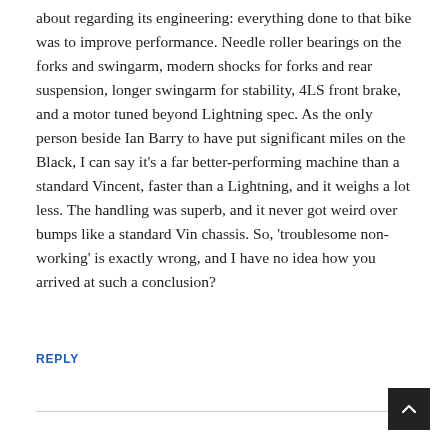about regarding its engineering: everything done to that bike was to improve performance. Needle roller bearings on the forks and swingarm, modern shocks for forks and rear suspension, longer swingarm for stability, 4LS front brake, and a motor tuned beyond Lightning spec. As the only person beside Ian Barry to have put significant miles on the Black, I can say it’s a far better-performing machine than a standard Vincent, faster than a Lightning, and it weighs a lot less. The handling was superb, and it never got weird over bumps like a standard Vin chassis. So, ‘troublesome non-working’ is exactly wrong, and I have no idea how you arrived at such a conclusion?
REPLY